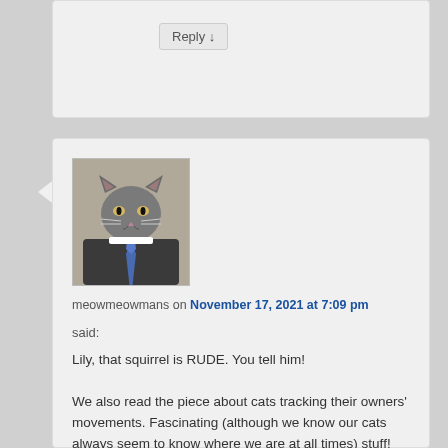[Figure (photo): Avatar of a grey cat wearing a tie, used as commenter profile picture]
meowmeowmans on November 17, 2021 at 7:09 pm
said:
Lily, that squirrel is RUDE. You tell him!

We also read the piece about cats tracking their owners’ movements. Fascinating (although we know our cats always seem to know where we are at all times) stuff!

We love that story about Robert. Kindness sure does a heart good. 🙂